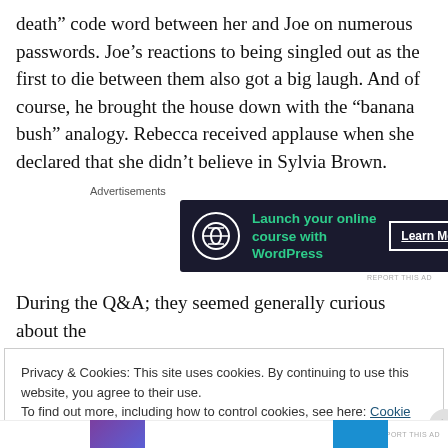death” code word between her and Joe on numerous passwords. Joe’s reactions to being singled out as the first to die between them also got a big laugh. And of course, he brought the house down with the “banana bush” analogy. Rebecca received applause when she declared that she didn’t believe in Sylvia Brown.
Advertisements
[Figure (other): Advertisement banner for launching an online course with WordPress. Dark navy background with green text and a white Learn More button.]
REPORT THIS AD
During the Q&A; they seemed generally curious about the
Privacy & Cookies: This site uses cookies. By continuing to use this website, you agree to their use.
To find out more, including how to control cookies, see here: Cookie Policy
Close and accept
REPORT THIS AD